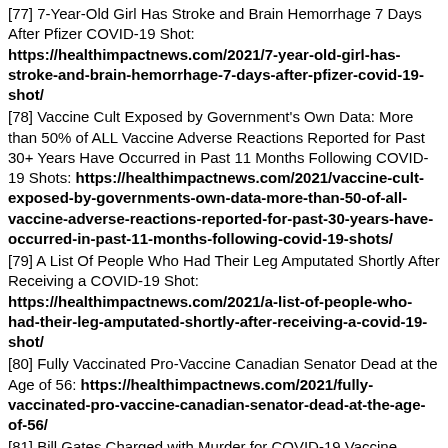[77] 7-Year-Old Girl Has Stroke and Brain Hemorrhage 7 Days After Pfizer COVID-19 Shot: https://healthimpactnews.com/2021/7-year-old-girl-has-stroke-and-brain-hemorrhage-7-days-after-pfizer-covid-19-shot/
[78] Vaccine Cult Exposed by Government's Own Data: More than 50% of ALL Vaccine Adverse Reactions Reported for Past 30+ Years Have Occurred in Past 11 Months Following COVID-19 Shots: https://healthimpactnews.com/2021/vaccine-cult-exposed-by-governments-own-data-more-than-50-of-all-vaccine-adverse-reactions-reported-for-past-30-years-have-occurred-in-past-11-months-following-covid-19-shots/
[79] A List Of People Who Had Their Leg Amputated Shortly After Receiving a COVID-19 Shot: https://healthimpactnews.com/2021/a-list-of-people-who-had-their-leg-amputated-shortly-after-receiving-a-covid-19-shot/
[80] Fully Vaccinated Pro-Vaccine Canadian Senator Dead at the Age of 56: https://healthimpactnews.com/2021/fully-vaccinated-pro-vaccine-canadian-senator-dead-at-the-age-of-56/
[81] Bill Gates Charged with Murder for COVID-19 Vaccine Death in India's High Court – Death Penalty Sought: https://healthimpactnews.com/2021/bill-gates-charged-with-murder-for-covid-19-vaccine-death-in-indias-high-court-death-penalty-sought/
[82] Pfizer's War on Children Invades Canada and Israel as COVID Shots Begin to be Injected Into 5 to 11 Year Olds: https://healthimpactnews.com/2021/pfizers-war-on-children-invades-canada-and-israel-as-covid-shots-begin-to-be-injected-